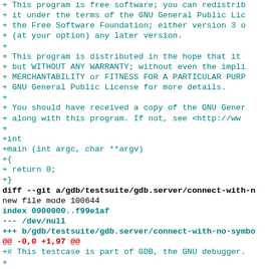+    This program is free software; you can redistrib
+    it under the terms of the GNU General Public Lic
+    the Free Software Foundation; either version 3 o
+    (at your option) any later version.
+
+    This program is distributed in the hope that it
+    but WITHOUT ANY WARRANTY; without even the impli
+    MERCHANTABILITY or FITNESS FOR A PARTICULAR PURP
+    GNU General Public License for more details.
+
+    You should have received a copy of the GNU Gener
+    along with this program.  If not, see <http://ww
+
+int
+main (int argc, char **argv)
+{
+  return 0;
+}
diff --git a/gdb/testsuite/gdb.server/connect-with-n
new file mode 100644
index 0000000..f99e1af
--- /dev/null
+++ b/gdb/testsuite/gdb.server/connect-with-no-symbo
@@ -0,0 +1,97 @@
+# This testcase is part of GDB, the GNU debugger.
+
+# Copyright 2016 Free Software Foundation, Inc.
+
+# This program is free software; you can redistribu
+# it under the terms of the GNU General Public Lice
+# the Free Software Foundation; either version 3 of
+# (at your option) any later version.